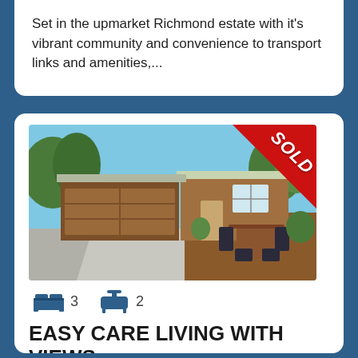Set in the upmarket Richmond estate with it's vibrant community and convenience to transport links and amenities,...
[Figure (photo): Exterior photo of a single-storey residential home with timber cladding, a double garage, and outdoor dining furniture on a deck. Blue sky background. SOLD banner in top right corner.]
3 bedrooms, 2 bathrooms
EASY CARE LIVING WITH VIEWS
Forrest Hill - North Shore City
Enquiries over $1,339,000